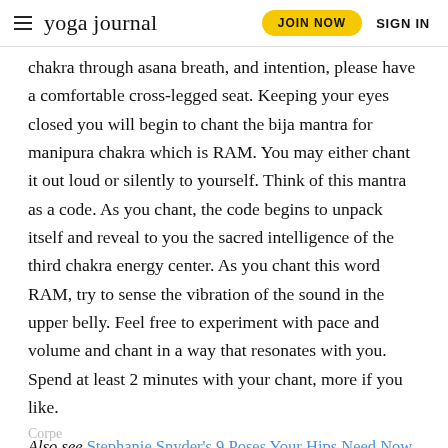yoga journal | JOIN NOW | SIGN IN
chakra through asana breath, and intention, please have a comfortable cross-legged seat. Keeping your eyes closed you will begin to chant the bija mantra for manipura chakra which is RAM. You may either chant it out loud or silently to yourself. Think of this mantra as a code. As you chant, the code begins to unpack itself and reveal to you the sacred intelligence of the third chakra energy center. As you chant this word RAM, try to sense the vibration of the sound in the upper belly. Feel free to experiment with pace and volume and chant in a way that resonates with you. Spend at least 2 minutes with your chant, more if you like.
Also see Stephanie Snyder's 9 Poses Your Hips Need Now
[Figure (photo): GMC advertisement banner with GMC logo in red on black background]
Corpe...